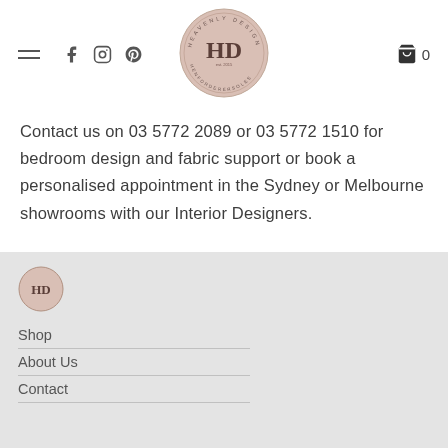[Figure (logo): HD Heavenly Design circular logo with text around the border, beige/pink background]
Contact us on 03 5772 2089 or 03 5772 1510 for bedroom design and fabric support or book a personalised appointment in the Sydney or Melbourne showrooms with our Interior Designers.
[Figure (logo): Small HD circular logo in footer, beige/pink]
Shop
About Us
Contact